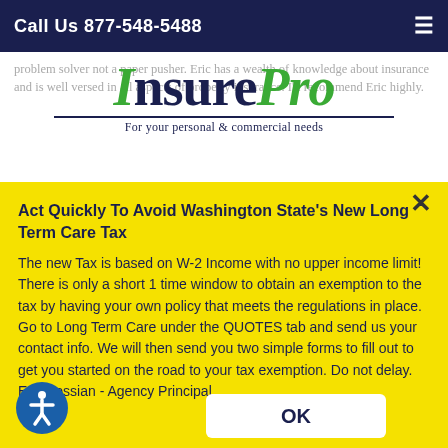Call Us 877-548-5488
[Figure (logo): InsurePro logo with tagline 'For your personal & commercial needs']
problem solver not a paper pusher. Eric has a wealth of knowledge about insurance and is well versed in all aspects of property insurance. I'd recommend Eric highly.
Act Quickly To Avoid Washington State's New Long Term Care Tax
The new Tax is based on W-2 Income with no upper income limit! There is only a short 1 time window to obtain an exemption to the tax by having your own policy that meets the regulations in place. Go to Long Term Care under the QUOTES tab and send us your contact info. We will then send you two simple forms to fill out to get you started on the road to your tax exemption. Do not delay. Eric Kossian - Agency Principal